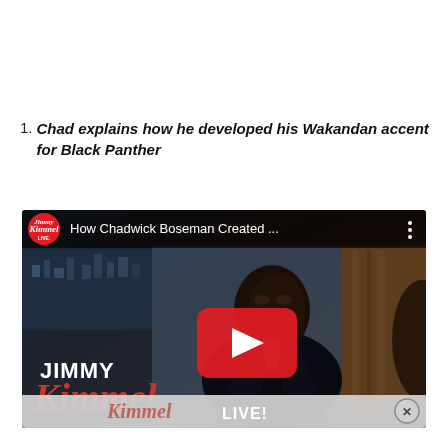Chad explains how he developed his Wakandan accent for Black Panther
[Figure (screenshot): YouTube video thumbnail/embed from Jimmy Kimmel Live showing Chadwick Boseman. Title reads 'How Chadwick Boseman Created ...' with a red play button overlay. Shows JIMMY Kimmel Live branding. Bottom has an ad banner with Kimmel script logo and LIVE! text with a close X button.]